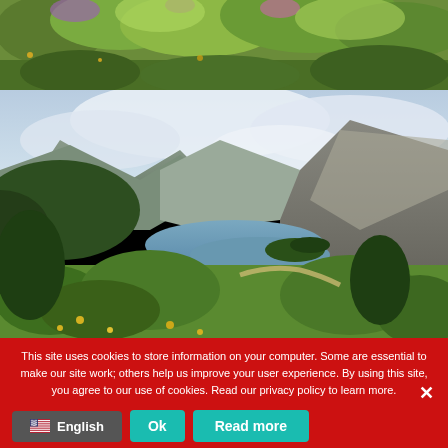[Figure (photo): Top strip: lush green hillside with wildflowers and dense vegetation in warm daylight]
[Figure (photo): Scenic mountain valley with a river/lake winding through steep forested slopes, green meadows with yellow wildflowers in foreground, cloudy sky]
This site uses cookies to store information on your computer. Some are essential to make our site work; others help us improve your user experience. By using this site, you agree to our use of cookies. Read our privacy policy to learn more.